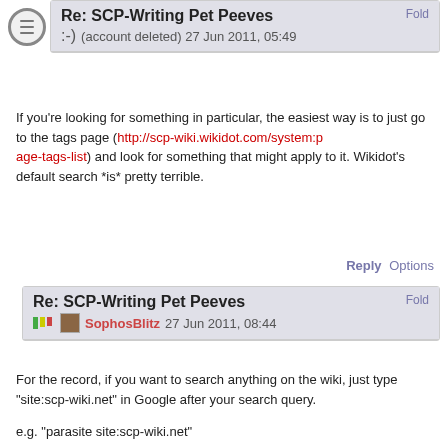Re: SCP-Writing Pet Peeves
:-) (account deleted) 27 Jun 2011, 05:49
If you're looking for something in particular, the easiest way is to just go to the tags page (http://scp-wiki.wikidot.com/system:page-tags-list) and look for something that might apply to it. Wikidot's default search *is* pretty terrible.
Reply Options
Re: SCP-Writing Pet Peeves
SophosBlitz 27 Jun 2011, 08:44
For the record, if you want to search anything on the wiki, just type "site:scp-wiki.net" in Google after your search query.
e.g. "parasite site:scp-wiki.net"
Or if you want a specific class of pages or pages with a specific URL prefix
e.g. "Photobucket site:scp-wiki.net/scp"
It's not perfect though. I've had Google leave stuff out in the search results, and if the author didn't use the specific word you're looking for, you won't find the page(s).
Reply Options